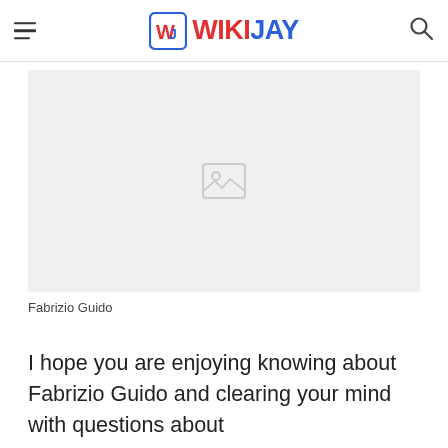WIKIJAY
[Figure (photo): Image placeholder for Fabrizio Guido — shows a broken/missing image icon on a light grey background]
Fabrizio Guido
I hope you are enjoying knowing about Fabrizio Guido and clearing your mind with questions about